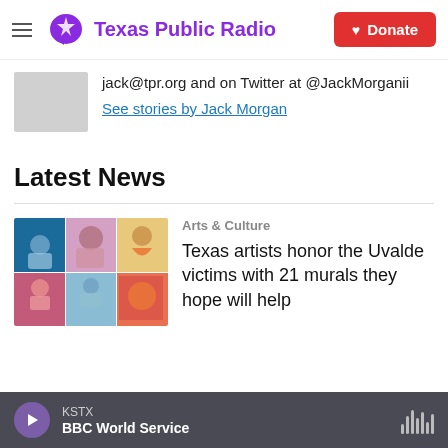Texas Public Radio — Donate
jack@tpr.org and on Twitter at @JackMorganii
See stories by Jack Morgan
Latest News
Arts & Culture
Texas artists honor the Uvalde victims with 21 murals they hope will help
KSTX BBC World Service